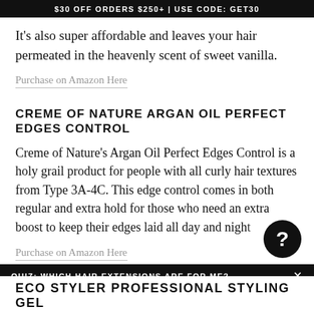$30 OFF ORDERS $250+ | USE CODE: GET30
It's also super affordable and leaves your hair permeated in the heavenly scent of sweet vanilla.
Purchase on Amazon Here
CREME OF NATURE ARGAN OIL PERFECT EDGES CONTROL
Creme of Nature's Argan Oil Perfect Edges Control is a holy grail product for people with all curly hair textures from Type 3A-4C. This edge control comes in both regular and extra hold for those who need an extra boost to keep their edges laid all day and night.
Purchase on Amazon Here
QUIZ: WHICH HAIR EXTENSIONS ARE FOR ME?
ECO STYLER PROFESSIONAL STYLING GEL